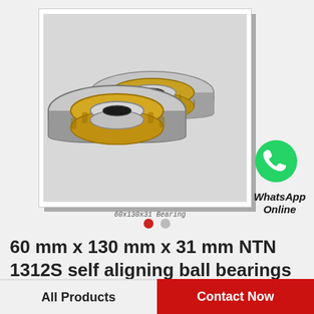[Figure (photo): Two industrial roller bearings with brass/gold-colored cage and silver metal rings, shown at an angle. Product photo with white background inside a framed border.]
60x130x31 Bearing
[Figure (logo): WhatsApp green phone icon circle logo]
WhatsApp Online
60 mm x 130 mm x 31 mm NTN 1312S self aligning ball bearings
All Products
Contact Now